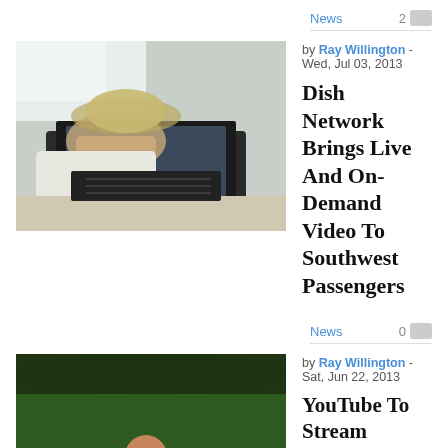News
2
[Figure (photo): Person using a laptop on an airplane, viewed from above and side angle]
by Ray Willington - Wed, Jul 03, 2013
Dish Network Brings Live And On-Demand Video To Southwest Passengers
News
0
[Figure (photo): Female tennis player in white outfit with pink headband holding a racket on a green court]
by Ray Willington - Sat, Jun 22, 2013
YouTube To Stream Wimbledon Live: A Sign Of The Times?